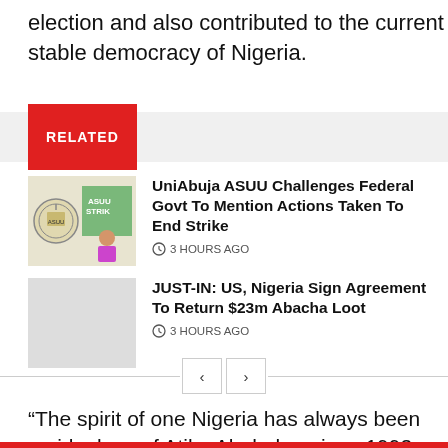election and also contributed to the current stable democracy of Nigeria.
RELATED
UniAbuja ASUU Challenges Federal Govt To Mention Actions Taken To End Strike
3 HOURS AGO
JUST-IN: US, Nigeria Sign Agreement To Return $23m Abacha Loot
3 HOURS AGO
“The spirit of one Nigeria has always been an ideology of Atiku Abubakar since 1993, which is